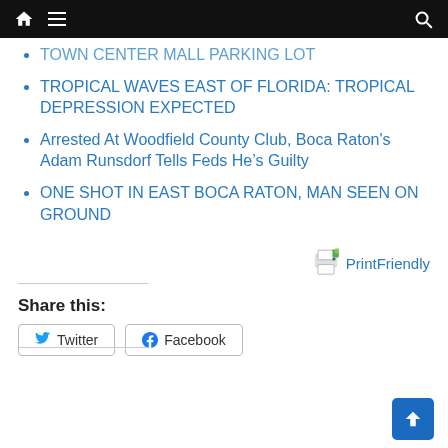Navigation bar with home, menu, and search icons
TOWN CENTER MALL PARKING LOT
TROPICAL WAVES EAST OF FLORIDA: TROPICAL DEPRESSION EXPECTED
Arrested At Woodfield County Club, Boca Raton's Adam Runsdorf Tells Feds He's Guilty
ONE SHOT IN EAST BOCA RATON, MAN SEEN ON GROUND
PrintFriendly
Share this:
Twitter
Facebook